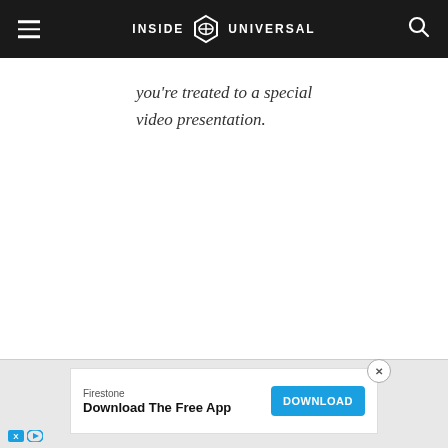INSIDE UNIVERSAL
you're treated to a special video presentation.
[Figure (screenshot): Advertisement banner for Firestone app download with blue DOWNLOAD button and close X button]